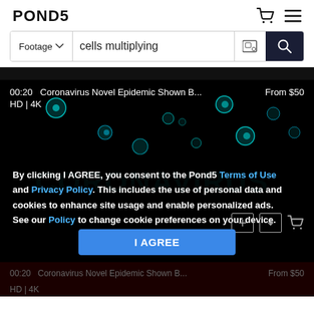POND5
[Figure (screenshot): Search bar with 'Footage' dropdown, 'cells multiplying' search input, image search icon, and dark blue search button with magnifier icon]
[Figure (screenshot): Pond5 video thumbnail showing coronavirus cells (cyan glowing particles on black background) with text overlay: '00:20 Coronavirus Novel Epidemic Shown B... From $50 HD | 4K'. A cookie consent overlay covers the lower half with text about Terms of Use and Privacy Policy, and an I AGREE button.]
By clicking I AGREE, you consent to the Pond5 Terms of Use and Privacy Policy. This includes the use of personal data and cookies to enhance site usage and enable personalized ads. See our Policy to change cookie preferences on your device.
I AGREE
[Figure (screenshot): Second partially visible video card with same title: '00:20 Coronavirus Novel Epidemic Shown B... From $50 HD | 4K']